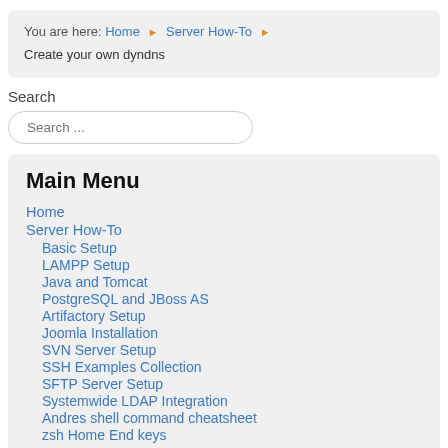You are here: Home ▶ Server How-To ▶ Create your own dyndns
Search
Search ...
Main Menu
Home
Server How-To
Basic Setup
LAMPP Setup
Java and Tomcat
PostgreSQL and JBoss AS
Artifactory Setup
Joomla Installation
SVN Server Setup
SSH Examples Collection
SFTP Server Setup
Systemwide LDAP Integration
Andres shell command cheatsheet
zsh Home End keys